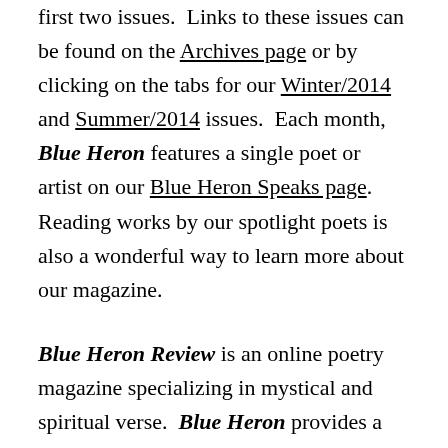first two issues.  Links to these issues can be found on the Archives page or by clicking on the tabs for our Winter/2014 and Summer/2014 issues.  Each month, Blue Heron features a single poet or artist on our Blue Heron Speaks page.  Reading works by our spotlight poets is also a wonderful way to learn more about our magazine.
Blue Heron Review is an online poetry magazine specializing in mystical and spiritual verse.  Blue Heron provides a space for poets who offer a positive message about living fully and engaging with the world through beauty, a sense of community and acceptance.